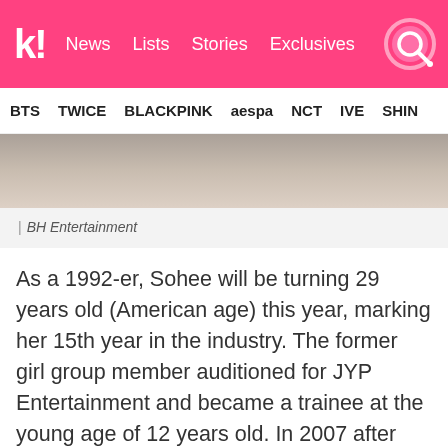k! News Lists Stories Exclusives
BTS TWICE BLACKPINK aespa NCT IVE SHINE
[Figure (photo): Close-up photo of a person with dark hair, partially visible, cropped at top of page]
| BH Entertainment
As a 1992-er, Sohee will be turning 29 years old (American age) this year, marking her 15th year in the industry. The former girl group member auditioned for JYP Entertainment and became a trainee at the young age of 12 years old. In 2007 after just two years of training, she made the final lineup for the label's girl group, Wonder Girls. The five member group came onto the K-Pop scene with an impressive debut with their song, "Irony."